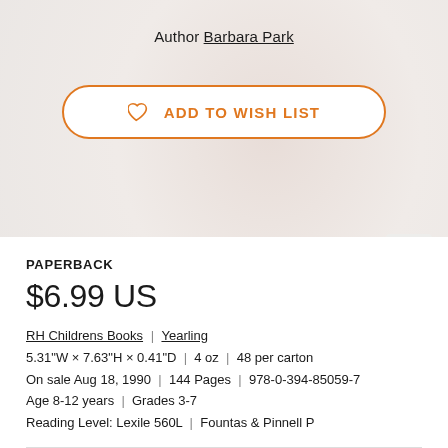Author Barbara Park
[Figure (other): ADD TO WISH LIST button with heart icon, orange outline pill-shaped button]
PAPERBACK
$6.99 US
RH Childrens Books | Yearling
5.31"W x 7.63"H x 0.41"D | 4 oz | 48 per carton
On sale Aug 18, 1990 | 144 Pages | 978-0-394-85059-7
Age 8-12 years | Grades 3-7
Reading Level: Lexile 560L | Fountas & Pinnell P